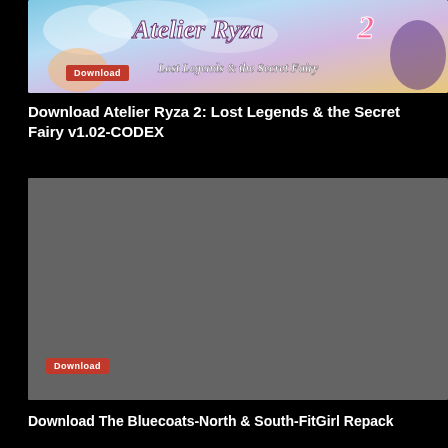[Figure (screenshot): Banner image for Atelier Ryza 2: Lost Legends & the Secret Fairy game download, showing colorful game artwork with a 'Download' button overlay]
Download Atelier Ryza 2: Lost Legends & the Secret Fairy v1.02-CODEX
[Figure (screenshot): Second game banner/advertisement with dark gray background and a 'Download' button in the bottom-left corner]
Download The Bluecoats-North & South-FitGirl Repack